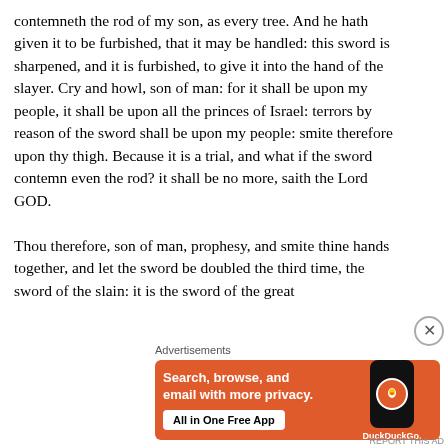contemneth the rod of my son, as every tree. And he hath given it to be furbished, that it may be handled: this sword is sharpened, and it is furbished, to give it into the hand of the slayer. Cry and howl, son of man: for it shall be upon my people, it shall be upon all the princes of Israel: terrors by reason of the sword shall be upon my people: smite therefore upon thy thigh. Because it is a trial, and what if the sword contemn even the rod? it shall be no more, saith the Lord GOD.

Thou therefore, son of man, prophesy, and smite thine hands together, and let the sword be doubled the third time, the sword of the slain: it is the sword of the great
[Figure (infographic): DuckDuckGo advertisement: orange background with phone showing DuckDuckGo logo. Text: 'Search, browse, and email with more privacy.' Button: 'All in One Free App']